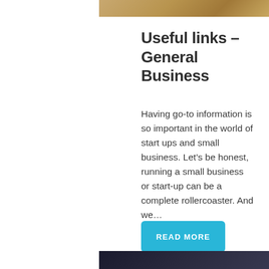[Figure (photo): Top partial image showing wooden surface, brown tones]
Useful links – General Business
Having go-to information is so important in the world of start ups and small business. Let's be honest, running a small business or start-up can be a complete rollercoaster. And we...
READ MORE
[Figure (photo): Bottom partial image, dark tones]